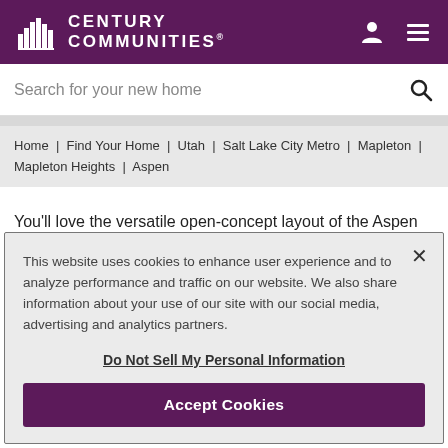Century Communities®
Search for your new home
Home | Find Your Home | Utah | Salt Lake City Metro | Mapleton | Mapleton Heights | Aspen
You'll love the versatile open-concept layout of the Aspen
This website uses cookies to enhance user experience and to analyze performance and traffic on our website. We also share information about your use of our site with our social media, advertising and analytics partners.

Do Not Sell My Personal Information

Accept Cookies